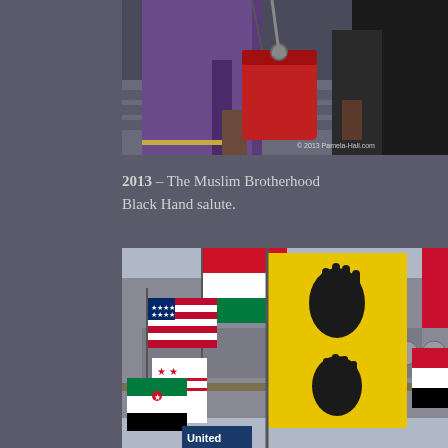[Figure (photo): Close-up photograph showing two people walking. One person wears a purple/dark violet coat and carries a red handbag. The other person wears black clothing. A copyright watermark reads '© 2013 Pamela-Hall.com'.]
2013 – The Muslim Brotherhood Black Hand salute.
[Figure (photo): Outdoor photograph showing multiple flags being held at what appears to be a protest or rally. Flags include an American flag, Syrian flags (both old and new), Egyptian flag, and yellow/black flags with a black hand symbol. A building with circular windows is visible in the background. A sign reads 'United' at the bottom.]